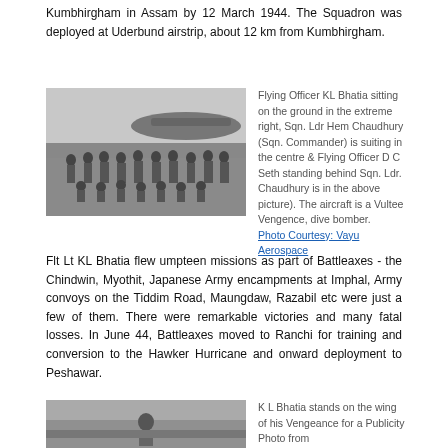Kumbhirgham in Assam by 12 March 1944. The Squadron was deployed at Uderbund airstrip, about 12 km from Kumbhirgham.
[Figure (photo): Black and white group photograph of military airmen posed in front of an aircraft, likely a Vultee Vengence dive bomber.]
Flying Officer KL Bhatia sitting on the ground in the extreme right, Sqn. Ldr Hem Chaudhury (Sqn. Commander) is suiting in the centre & Flying Officer D C Seth standing behind Sqn. Ldr. Chaudhury is in the above picture). The aircraft is a Vultee Vengence, dive bomber. Photo Courtesy: Vayu Aerospace
Flt Lt KL Bhatia flew umpteen missions as part of Battleaxes - the Chindwin, Myothit, Japanese Army encampments at Imphal, Army convoys on the Tiddim Road, Maungdaw, Razabil etc were just a few of them. There were remarkable victories and many fatal losses. In June 44, Battleaxes moved to Ranchi for training and conversion to the Hawker Hurricane and onward deployment to Peshawar.
[Figure (photo): Black and white photograph of K L Bhatia standing on the wing of his Vengance aircraft.]
K L Bhatia stands on the wing of his Vengeance for a Publicity Photo from